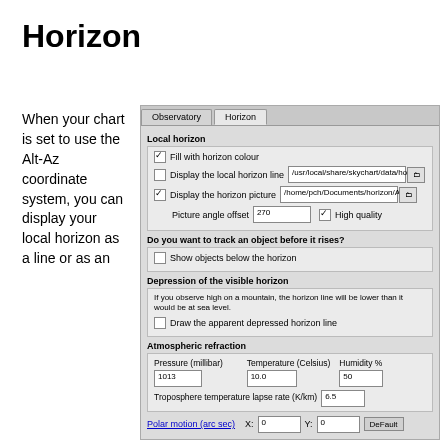Horizon
When your chart is set to use the Alt-Az coordinate system, you can display your local horizon as a line or as an
[Figure (screenshot): Dialog window showing Horizon settings with tabs 'Observatory' and 'Horizon'. Contains sections: Local horizon (with checkboxes for 'Fill with horizon colour', 'Display the local horizon line' with file path /usr/local/share/skychart/data/hori, 'Display the horizon picture' with file path /home/pch/Documents/horizon/Air, Picture angle offset=270, High quality checkbox); 'Do you want to track an object before it rises?' section with checkbox 'Show objects below the horizon'; 'Depression of the visible horizon' section with info text and checkbox 'Draw the apparent depressed horizon line'; 'Atmospheric refraction' section with fields Pressure(millibar)=1013, Temperature(Celsius)=10.0, Humidity%=50, Troposphere temperature lapse rate(K/km)=6.5; Polar motion(arc sec) link with X=0, Y=0, Default button.]